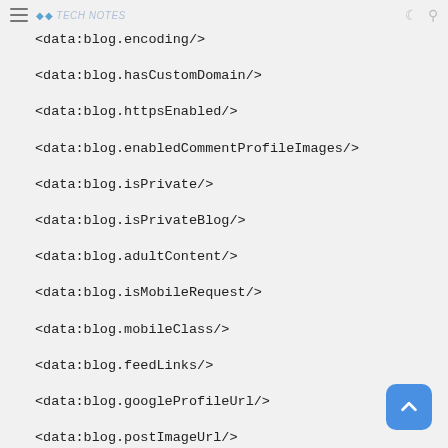< data:blog.encoding/>
<data:blog.hasCustomDomain/>
<data:blog.httpsEnabled/>
<data:blog.enabledCommentProfileImages/>
<data:blog.isPrivate/>
<data:blog.isPrivateBlog/>
<data:blog.adultContent/>
<data:blog.isMobileRequest/>
<data:blog.mobileClass/>
<data:blog.feedLinks/>
<data:blog.googleProfileUrl/>
<data:blog.postImageUrl/>
<data:blog.pageTh...